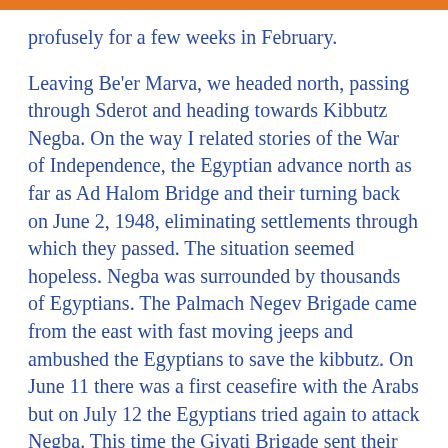profusely for a few weeks in February.
Leaving Be'er Marva, we headed north, passing through Sderot and heading towards Kibbutz Negba. On the way I related stories of the War of Independence, the Egyptian advance north as far as Ad Halom Bridge and their turning back on June 2, 1948, eliminating settlements through which they passed. The situation seemed hopeless. Negba was surrounded by thousands of Egyptians. The Palmach Negev Brigade came from the east with fast moving jeeps and ambushed the Egyptians to save the kibbutz. On June 11 there was a first ceasefire with the Arabs but on July 12 the Egyptians tried again to attack Negba. This time the Givati Brigade sent their jeeps, the "Samson Foxes". Uri Avneri, one of their fighters, wrote a poem about them which became a famous song "Shulaei Shimshon". Negba became a